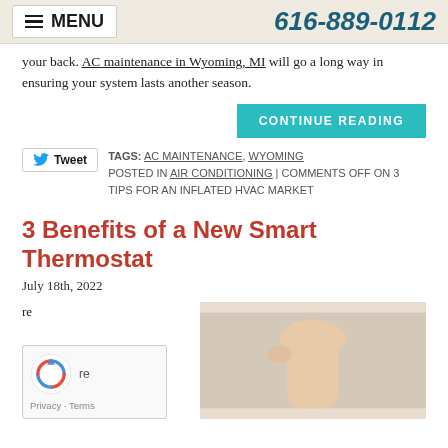MENU | 616-889-0112
your back. AC maintenance in Wyoming, MI will go a long way in ensuring your system lasts another season.
CONTINUE READING
Tweet  TAGS: AC MAINTENANCE, WYOMING  POSTED IN AIR CONDITIONING | COMMENTS OFF ON 3 TIPS FOR AN INFLATED HVAC MARKET
3 Benefits of a New Smart Thermostat
July 18th, 2022
re
[Figure (photo): Hand with thumb near a thermostat]
gift